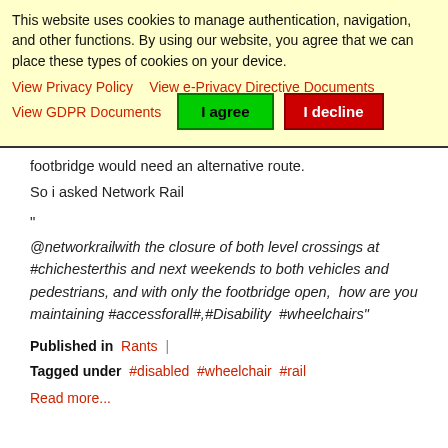This website uses cookies to manage authentication, navigation, and other functions. By using our website, you agree that we can place these types of cookies on your device.
View Privacy Policy   View e-Privacy Directive Documents   View GDPR Documents   I agree   I decline
footbridge would need an alternative route.
So i asked Network Rail
"
@networkrailwith the closure of both level crossings at #chichesterthis and next weekends to both vehicles and pedestrians, and with only the footbridge open,  how are you maintaining #accessforall#,#Disability  #wheelchairs"
Published in Rants |
Tagged under  #disabled  #wheelchair  #rail
Read more...